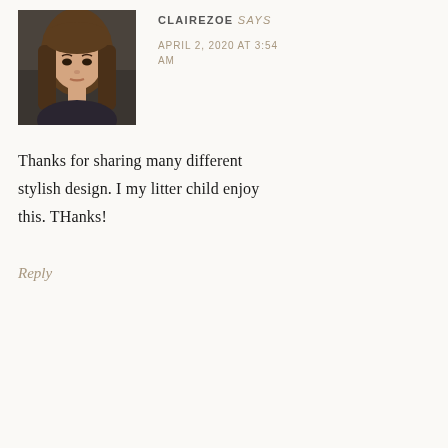[Figure (photo): Profile photo of a young woman with long brown hair, sitting in a car, wearing a dark top. Square thumbnail.]
CLAIREZOE says
APRIL 2, 2020 AT 3:54 AM
Thanks for sharing many different stylish design. I my litter child enjoy this. THanks!
Reply
[Figure (photo): Generic grey placeholder avatar showing silhouette of a person.]
GOOD FOR DOGS says
JUNE 25, 2020 AT 9:20 AM